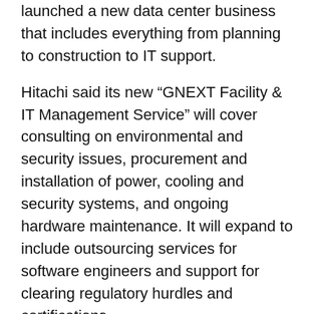launched a new data center business that includes everything from planning to construction to IT support.
Hitachi said its new “GNEXT Facility & IT Management Service” will cover consulting on environmental and security issues, procurement and installation of power, cooling and security systems, and ongoing hardware maintenance. It will expand to include outsourcing services for software engineers and support for clearing regulatory hurdles and certifications.
The company targets ¥100 billion (US$1.25 billion) in orders from the new business by the fiscal year that ends in March 2016, or about 10 percent of total revenue, based on its forecast for the recently ended fiscal year.